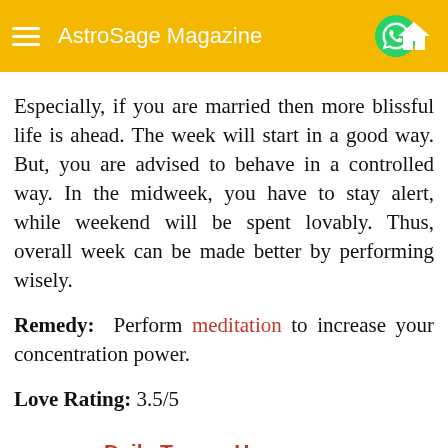AstroSage Magazine
Especially, if you are married then more blissful life is ahead. The week will start in a good way. But, you are advised to behave in a controlled way. In the midweek, you have to stay alert, while weekend will be spent lovably. Thus, overall week can be made better by performing wisely.
Remedy: Perform meditation to increase your concentration power.
Love Rating: 3.5/5
Daily Taurus Horoscope